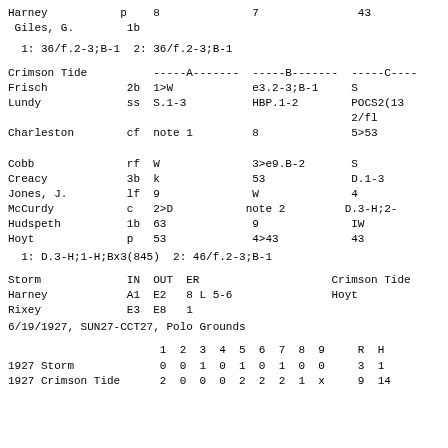Harney           p    8              7               43
 Giles, G.        1b
1: 36/f.2-3;B-1  2: 36/f.2-3;B-1
| Crimson Tide |  | -----A------- | -----B------- | -----C---- |
| --- | --- | --- | --- | --- |
| Frisch | 2b | 1>W | e3.2-3;B-1 | S |
| Lundy | ss | S.1-3 | HBP.1-2 | POCS2(13
2/fl |
| Charleston | cf | note 1 | 8 | 5>53 |
| Cobb | rf | W | 3>e9.B-2 | S |
| Creacy | 3b | k | 53 | D.1-3 |
| Jones, J. | lf | 9 | W | 4 |
| McCurdy | c | 2>D | note 2 | D.3-H;2- |
| Hudspeth | 1b | 63 | 9 | IW |
| Hoyt | p | 53 | 4>43 | 43 |
1: D.3-H;1-H;Bx3(845)  2: 46/f.2-3;B-1
| Storm | IN | OUT | ER |  | Crimson Tide |
| --- | --- | --- | --- | --- | --- |
| Harney | A1 | E2 | 8 L 5-6 |  | Hoyt |
| Rixey | E3 | E8 | 1 |  |  |
6/19/1927, SUN27-CCT27, Polo Grounds
|  | 1 | 2 | 3 | 4 | 5 | 6 | 7 | 8 | 9 |  | R | H |
| --- | --- | --- | --- | --- | --- | --- | --- | --- | --- | --- | --- | --- |
| 1927 Storm | 0 | 0 | 1 | 0 | 1 | 0 | 1 | 0 | 0 |  | 3 | 1 |
| 1927 Crimson Tide | 2 | 0 | 0 | 0 | 2 | 2 | 2 | 1 | x |  | 9 | 14 |